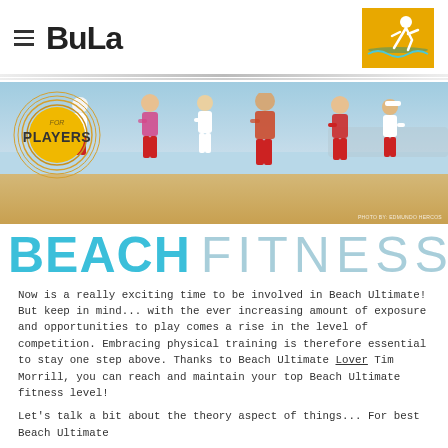≡ BULA [logo with figure]
[Figure (photo): Beach Ultimate players running on sand beach, with a yellow 'FOR PLAYERS' circle overlay on the left side. Photo credit: Eduardo Hercos.]
BEACH FITNESS
Now is a really exciting time to be involved in Beach Ultimate! But keep in mind... with the ever increasing amount of exposure and opportunities to play comes a rise in the level of competition. Embracing physical training is therefore essential to stay one step above. Thanks to Beach Ultimate Lover Tim Morrill, you can reach and maintain your top Beach Ultimate fitness level!
Let's talk a bit about the theory aspect of things... For best Beach Ultimate